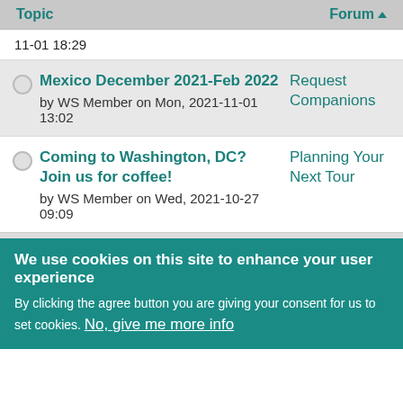| Topic | Forum |
| --- | --- |
| 11-01 18:29 |  |
| Mexico December 2021-Feb 2022
by WS Member on Mon, 2021-11-01 13:02 | Request Companions |
| Coming to Washington, DC? Join us for coffee!
by WS Member on Wed, 2021-10-27 09:09 | Planning Your Next Tour |
We use cookies on this site to enhance your user experience
By clicking the agree button you are giving your consent for us to set cookies. No, give me more info